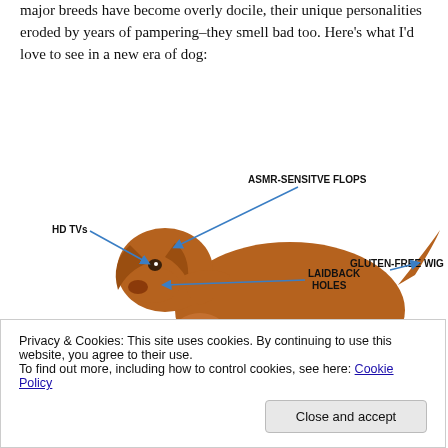major breeds have become overly docile, their unique personalities eroded by years of pampering–they smell bad too. Here's what I'd love to see in a new era of dog:
[Figure (illustration): Annotated diagram of a dog (Vizsla breed) with humorous labels pointing to different body parts: HD TVs (pointing to eyes), ASMR-SENSITVE FLOPS (pointing to ears), LAIDBACK HOLES (pointing to nostrils), GLUTEN-FREE WIG (pointing to tail area), POLITE CHIRP (pointing to chest/belly), WIFI-ENABLED (partially visible at bottom right, pointing to hindquarters).]
Privacy & Cookies: This site uses cookies. By continuing to use this website, you agree to their use.
To find out more, including how to control cookies, see here: Cookie Policy
Close and accept